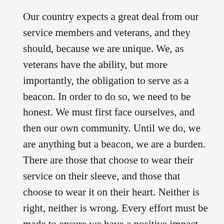Our country expects a great deal from our service members and veterans, and they should, because we are unique. We, as veterans have the ability, but more importantly, the obligation to serve as a beacon. In order to do so, we need to be honest. We must first face ourselves, and then our own community. Until we do, we are anything but a beacon, we are a burden. There are those that choose to wear their service on their sleeve, and those that choose to wear it on their heart. Neither is right, neither is wrong. Every effort must be made to ensure we have a positive impact, not a destructive one. People will look to you for guidance and as an example, be worthy of it.
For those that are thriving, it is my hope that you realize that you serve as an example to us all. For